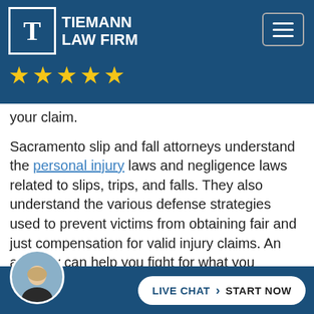Tiemann Law Firm — navigation header with five-star rating
your claim.
Sacramento slip and fall attorneys understand the personal injury laws and negligence laws related to slips, trips, and falls. They also understand the various defense strategies used to prevent victims from obtaining fair and just compensation for valid injury claims. An attorney can help you fight for what you deserve after being injured in a slip and fall accident.
Contact our California premises liability attorneys for a
[Figure (screenshot): Live chat button with attorney avatar at bottom of page]